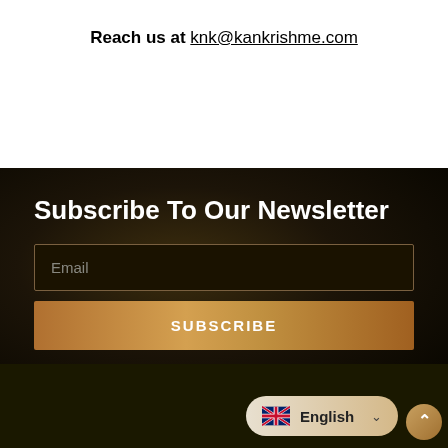Reach us at knk@kankrishme.com
Subscribe To Our Newsletter
Email
SUBSCRIBE
English